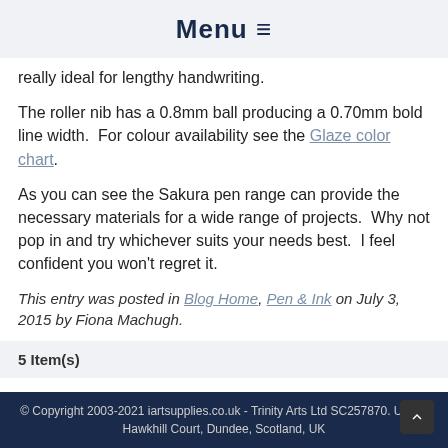Menu ≡
really ideal for lengthy handwriting.
The roller nib has a 0.8mm ball producing a 0.70mm bold line width.  For colour availability see the Glaze color chart.
As you can see the Sakura pen range can provide the necessary materials for a wide range of projects.  Why not pop in and try whichever suits your needs best.  I feel confident you won't regret it.
This entry was posted in Blog Home, Pen & Ink on July 3, 2015 by Fiona Machugh.
5 Item(s)
© Copyright 2003-2021 iartsupplies.co.uk - Trinity Arts Ltd SC257870. Unit F, Hawkhill Court, Dundee, Scotland, UK